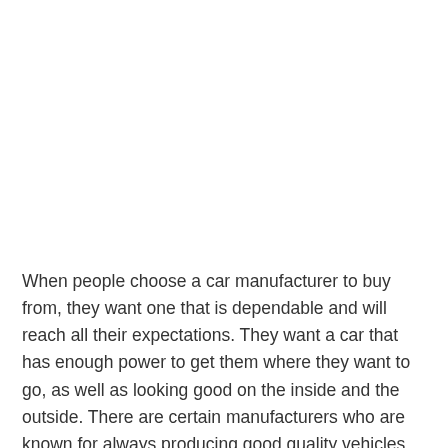When people choose a car manufacturer to buy from, they want one that is dependable and will reach all their expectations. They want a car that has enough power to get them where they want to go, as well as looking good on the inside and the outside. There are certain manufacturers who are known for always producing good quality vehicles and then there are others who are slowly getting better over the years. It isn't enough just to have one model that is good, all